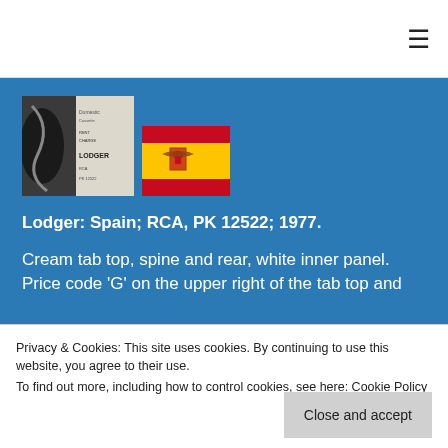≡
[Figure (photo): Composite image: record sleeve with handwritten text and 'LODGER' label on the left, and a Spain flag on the right.]
Lodger: Spain; RCA, PK 12522; 1977.
Cream tab top, spine and rear, white inner panel. Price code 'G' on the upper right of the tab top and
Privacy & Cookies: This site uses cookies. By continuing to use this website, you agree to their use.
To find out more, including how to control cookies, see here: Cookie Policy
Close and accept